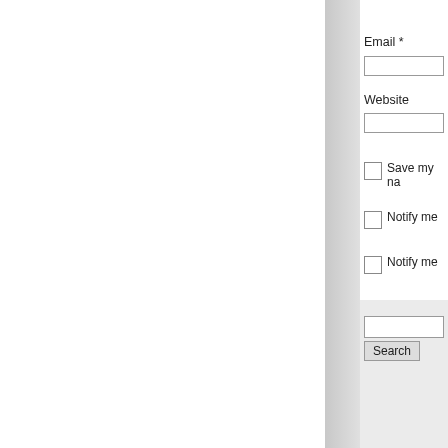Email *
Website
Save my na
Notify me
Notify me
« Episode 65:
Search